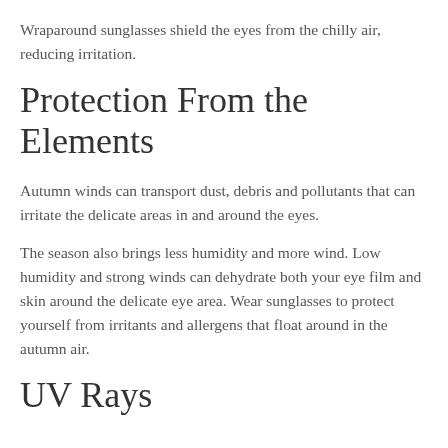Wraparound sunglasses shield the eyes from the chilly air, reducing irritation.
Protection From the Elements
Autumn winds can transport dust, debris and pollutants that can irritate the delicate areas in and around the eyes.
The season also brings less humidity and more wind. Low humidity and strong winds can dehydrate both your eye film and skin around the delicate eye area. Wear sunglasses to protect yourself from irritants and allergens that float around in the autumn air.
UV Rays